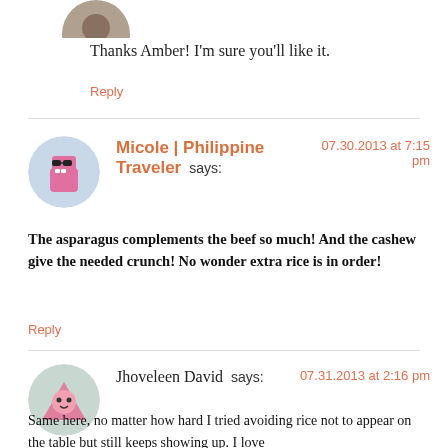[Figure (photo): Small circular avatar of a person, partially visible at top]
Thanks Amber! I'm sure you'll like it.
Reply
[Figure (illustration): Circular avatar with cartoon character wearing sunglasses, pink geometric figure]
Micole | Philippine Traveler says:
07.30.2013 at 7:15 pm
The asparagus complements the beef so much! And the cashew give the needed crunch! No wonder extra rice is in order!
Reply
[Figure (illustration): Circular avatar with cartoon character, pink triangle shape with face]
Jhoveleen David says:
07.31.2013 at 2:16 pm
Same here, no matter how hard I tried avoiding rice not to appear on the table but still keeps showing up. I love